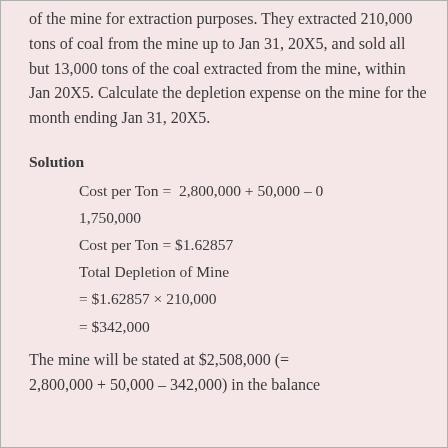of the mine for extraction purposes. They extracted 210,000 tons of coal from the mine up to Jan 31, 20X5, and sold all but 13,000 tons of the coal extracted from the mine, within Jan 20X5. Calculate the depletion expense on the mine for the month ending Jan 31, 20X5.
Solution
The mine will be stated at $2,508,000 (= 2,800,000 + 50,000 − 342,000) in the balance